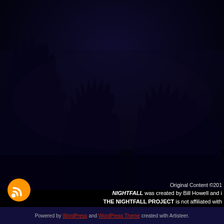[Figure (photo): Dark nighttime outdoor scene with tree silhouettes against a very dark navy/purple sky. Trees are barely visible as dark shapes against the slightly lighter dark blue background.]
Original Content ©201 NIGHTFALL was created by Bill Howell and i THE NIGHTFALL PROJECT is not affiliated with
Powered by WordPress and WordPress Theme created with Artisteer.